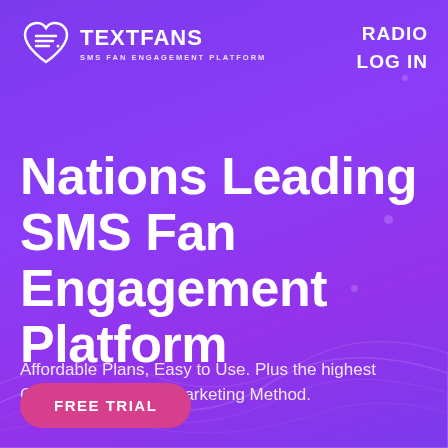[Figure (logo): TextFans logo — heart-shaped speech bubble icon with horizontal lines inside, followed by TEXTFANS in bold white and 'SMS FAN ENGAGEMENT PLATFORM' subtitle]
RADIO
LOG IN
Nations Leading SMS Fan Engagement Platform
Affordable Plans, Easy to Use. Plus the highest Conversions of any Marketing Method.
FREE TRIAL